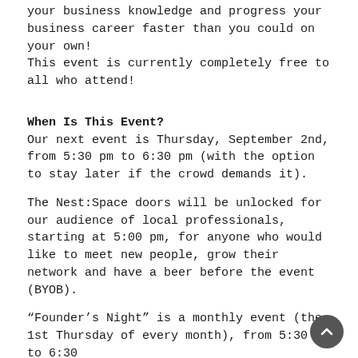your business knowledge and progress your business career faster than you could on your own! This event is currently completely free to all who attend!
When Is This Event?
Our next event is Thursday, September 2nd, from 5:30 pm to 6:30 pm (with the option to stay later if the crowd demands it).
The Nest:Space doors will be unlocked for our audience of local professionals, starting at 5:00 pm, for anyone who would like to meet new people, grow their network and have a beer before the event (BYOB).
“Founder’s Night” is a monthly event (the 1st Thursday of every month), from 5:30 pm to 6:30